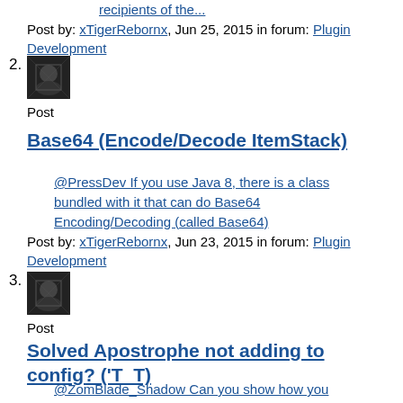recipients of the...
Post by: xTigerRebornx, Jun 25, 2015 in forum: Plugin Development
2.
Post
Base64 (Encode/Decode ItemStack)
@PressDev If you use Java 8, there is a class bundled with it that can do Base64 Encoding/Decoding (called Base64)
Post by: xTigerRebornx, Jun 23, 2015 in forum: Plugin Development
3.
Post
Solved Apostrophe not adding to config? ('T_T)
@ZomBlade_Shadow Can you show how you